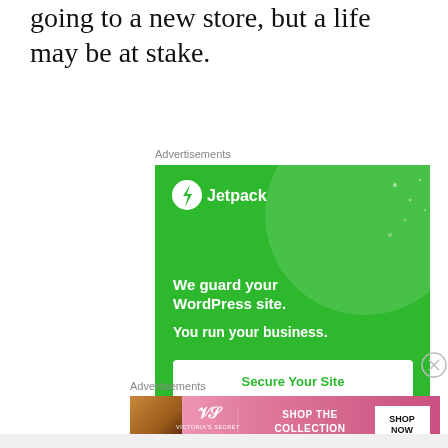going to a new store, but a life may be at stake.
Advertisements
[Figure (illustration): Jetpack advertisement on green background: logo with lightning bolt icon, tagline 'We guard your WordPress site. You run your business.' and a 'Secure Your Site' button.]
Advertisements
[Figure (illustration): Victoria's Secret advertisement with model on pink/red gradient background, Victoria's Secret logo, text 'SHOP THE COLLECTION', and 'SHOP NOW' button.]